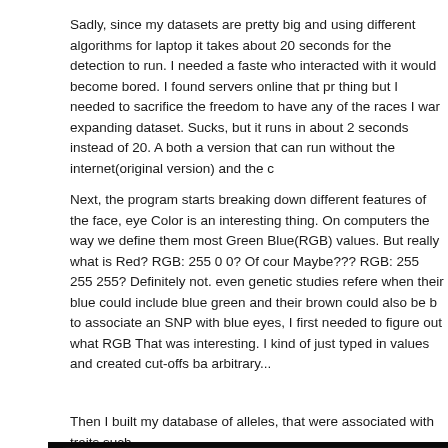Sadly, since my datasets are pretty big and using different algorithms for laptop it takes about 20 seconds for the detection to run. I needed a faster who interacted with it would become bored. I found servers online that pr thing but I needed to sacrifice the freedom to have any of the races I war expanding dataset. Sucks, but it runs in about 2 seconds instead of 20. A both a version that can run without the internet(original version) and the c
Next, the program starts breaking down different features of the face, eye Color is an interesting thing. On computers the way we define them most Green Blue(RGB) values. But really what is Red? RGB: 255 0 0? Of cour Maybe??? RGB: 255 255 255? Definitely not. even genetic studies refere when their blue could include blue green and their brown could also be b to associate an SNP with blue eyes, I first needed to figure out what RGB That was interesting. I kind of just typed in values and created cut-offs ba arbitrary...
Then I built my database of alleles, that were associated with traits such .
[Figure (screenshot): Screenshot of a tablet or monitor displaying a colorful genomic/allele database table with a color-coded key at the top showing different colored bars, and a grid of colored cells representing allele data.]